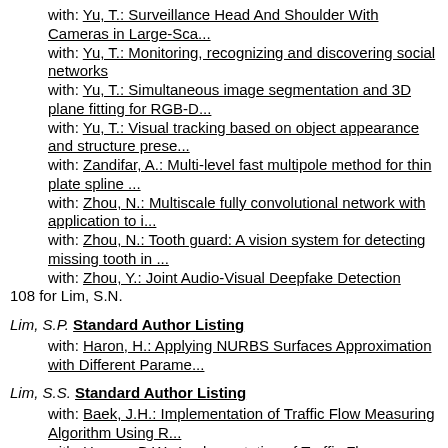with: Yu, T.: Surveillance Head And Shoulder With Cameras in Large-Sca...
with: Yu, T.: Monitoring, recognizing and discovering social networks
with: Yu, T.: Simultaneous image segmentation and 3D plane fitting for RGB-D...
with: Yu, T.: Visual tracking based on object appearance and structure prese...
with: Zandifar, A.: Multi-level fast multipole method for thin plate spline ...
with: Zhou, N.: Multiscale fully convolutional network with application to i...
with: Zhou, N.: Tooth guard: A vision system for detecting missing tooth in ...
with: Zhou, Y.: Joint Audio-Visual Deepfake Detection
108 for Lim, S.N.
Lim, S.P. Standard Author Listing
with: Haron, H.: Applying NURBS Surfaces Approximation with Different Parame...
Lim, S.S. Standard Author Listing
with: Baek, J.H.: Implementation of Traffic Flow Measuring Algorithm Using R...
with: Hwang, B.W.: Implementation of Traffic Flow Measuring Algorithm Using ...